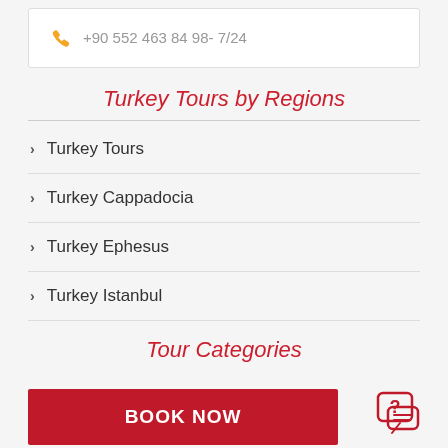+90 552 463 84 98 - 7/24
Turkey Tours by Regions
Turkey Tours
Turkey Cappadocia
Turkey Ephesus
Turkey Istanbul
Tour Categories
BOOK NOW